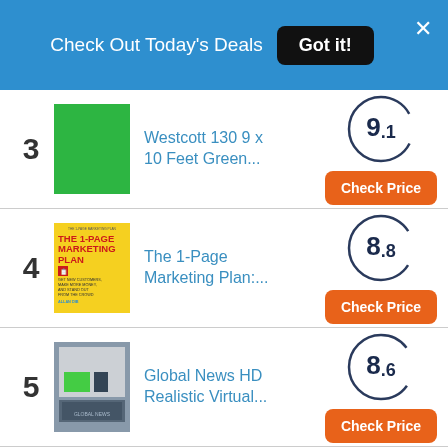Check Out Today's Deals  Got it!
3  Westcott 130 9 x 10 Feet Green...  9.1  Check Price
4  The 1-Page Marketing Plan:...  8.8  Check Price
5  Global News HD Realistic Virtual...  8.6  Check Price